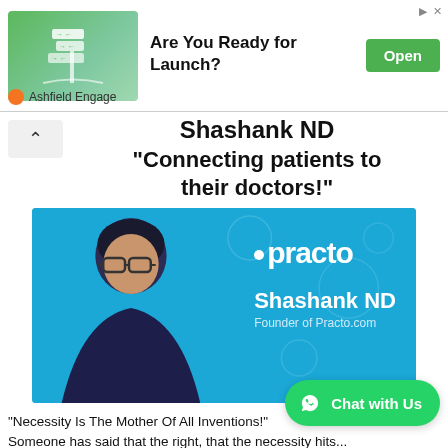[Figure (screenshot): Advertisement banner for Ashfield Engage: green gradient image with road sign icons, headline 'Are You Ready for Launch?', green Open button, Ashfield Engage logo with orange circle.]
Shashank ND
"Connecting patients to their doctors!"
[Figure (photo): Promotional photo of Shashank ND, Founder of Practo.com, against a blue Practo-branded background. Man wearing glasses and dark shirt on left; Practo logo and 'Shashank ND – Founder of Practo.com' text on right.]
"Necessity Is The Mother Of All Inventions!" Someone has said that the right, that the necessity hits...